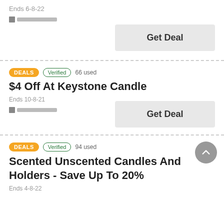Ends 6-8-22
[Figure (logo): Store logo placeholder]
Get Deal
DEALS   Verified   66 used
$4 Off At Keystone Candle
Ends 10-8-21
[Figure (logo): Store logo placeholder]
Get Deal
DEALS   Verified   94 used
Scented Unscented Candles And Holders - Save Up To 20%
Ends 4-8-22